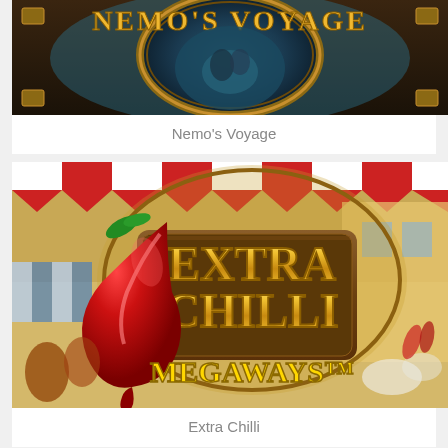[Figure (screenshot): Nemo's Voyage slot game banner with ornate title text and submarine portal imagery]
Nemo's Voyage
[Figure (screenshot): Extra Chilli Megaways slot game banner featuring a large red crystal chilli pepper and gold text reading EXTRA CHILLI MEGAWAYS with a market scene background]
Extra Chilli
[Figure (screenshot): Partial view of another slot game banner at the bottom of the page]